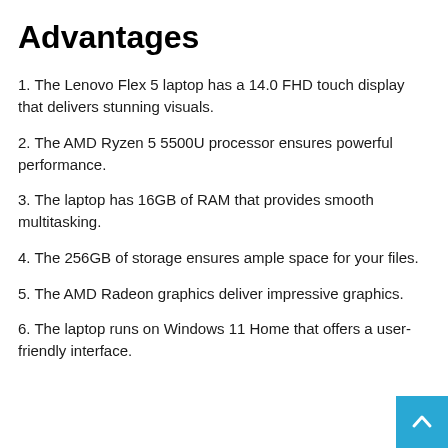Advantages
1. The Lenovo Flex 5 laptop has a 14.0 FHD touch display that delivers stunning visuals.
2. The AMD Ryzen 5 5500U processor ensures powerful performance.
3. The laptop has 16GB of RAM that provides smooth multitasking.
4. The 256GB of storage ensures ample space for your files.
5. The AMD Radeon graphics deliver impressive graphics.
6. The laptop runs on Windows 11 Home that offers a user-friendly interface.